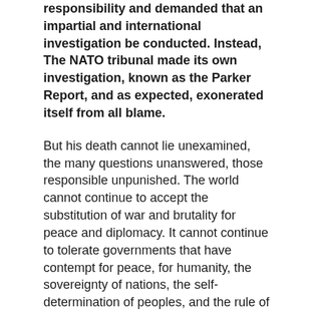responsibility and demanded that an impartial and international investigation be conducted. Instead, The NATO tribunal made its own investigation, known as the Parker Report, and as expected, exonerated itself from all blame.
But his death cannot lie unexamined, the many questions unanswered, those responsible unpunished. The world cannot continue to accept the substitution of war and brutality for peace and diplomacy. It cannot continue to tolerate governments that have contempt for peace, for humanity, the sovereignty of nations, the self-determination of peoples, and the rule of law.
The death of Slobodan Milosevic was clearly the only way out of the dilemma the NATO powers had put themselves in by charging him before the Hague tribunal. The propaganda against him was of an unprecedented scale. The trial was played in the press as one of the world's great dramas, as world theatre in which an evil man would be made to answer for his crimes. But of course, there had been no crimes, except those